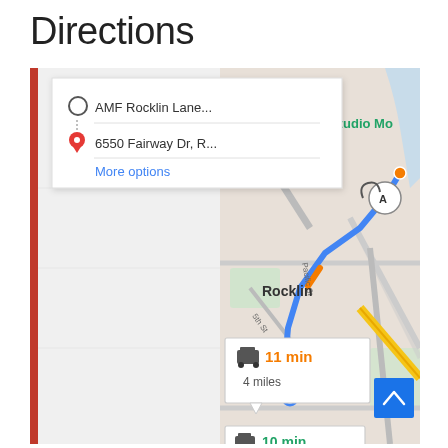Directions
[Figure (screenshot): Google Maps directions screenshot showing route from AMF Rocklin Lane... to 6550 Fairway Dr, R... with input card showing More options link, a map view of Rocklin area with blue route highlighted, showing 11 min / 4 miles travel time popup and 10 min / 4.6 miles alternate route at bottom, plus a blue scroll-to-top button in corner.]